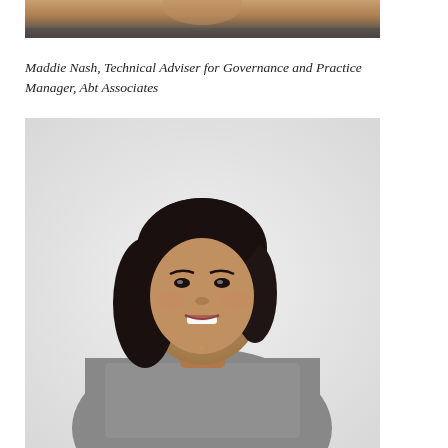[Figure (photo): Partial photo cropped at top showing lower portion of a person's face/neck and shoulders against a dark background]
Maddie Nash, Technical Adviser for Governance and Practice Manager, Abt Associates
[Figure (photo): Portrait photo of a smiling woman with shoulder-length dark hair, wearing a grey sweater, standing against a light grey/white wall]